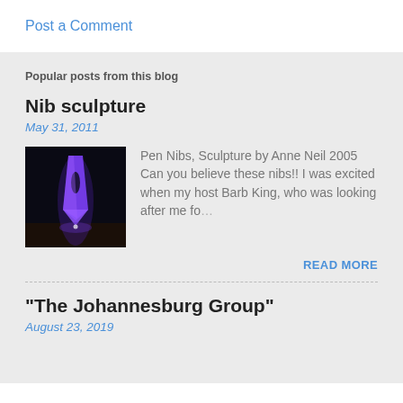Post a Comment
Popular posts from this blog
Nib sculpture
May 31, 2011
[Figure (photo): Illuminated purple nib sculpture by Anne Neil, photographed at night against a dark background]
Pen Nibs, Sculpture by Anne Neil 2005 Can you believe these nibs!!  I was excited when my host Barb King, who was looking after me fo...
READ MORE
"The Johannesburg Group"
August 23, 2019